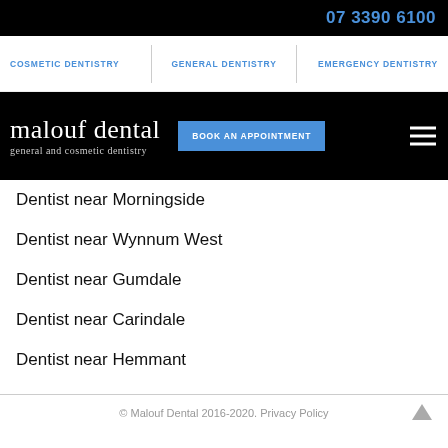07 3390 6100
COSMETIC DENTISTRY | GENERAL DENTISTRY | EMERGENCY DENTISTRY
malouf dental general and cosmetic dentistry | BOOK AN APPOINTMENT
Dentist near Morningside
Dentist near Wynnum West
Dentist near Gumdale
Dentist near Carindale
Dentist near Hemmant
© Malouf Dental 2016-2020. Privacy Policy